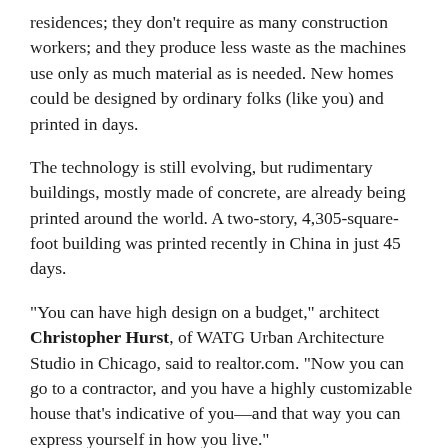residences; they don't require as many construction workers; and they produce less waste as the machines use only as much material as is needed. New homes could be designed by ordinary folks (like you) and printed in days.
The technology is still evolving, but rudimentary buildings, mostly made of concrete, are already being printed around the world. A two-story, 4,305-square-foot building was printed recently in China in just 45 days.
“You can have high design on a budget,” architect Christopher Hurst, of WATG Urban Architecture Studio in Chicago, said to realtor.com. “Now you can go to a contractor, and you have a highly customizable house that’s indicative of you—and that way you can express yourself in how you live.”
Contact Keith Katzman for Moraga Real Estate: 925.376.7776